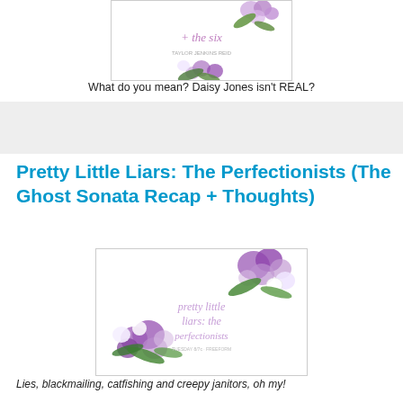[Figure (illustration): Book cover image for Daisy Jones and The Six with floral wreath decoration, partially cropped at top]
What do you mean? Daisy Jones isn't REAL?
[Figure (illustration): Gray advertisement/placeholder box]
Pretty Little Liars: The Perfectionists (The Ghost Sonata Recap + Thoughts)
[Figure (illustration): Book/show cover image for Pretty Little Liars: The Perfectionists with purple floral wreath and cursive script text]
Lies, blackmailing, catfishing and creepy janitors, oh my!